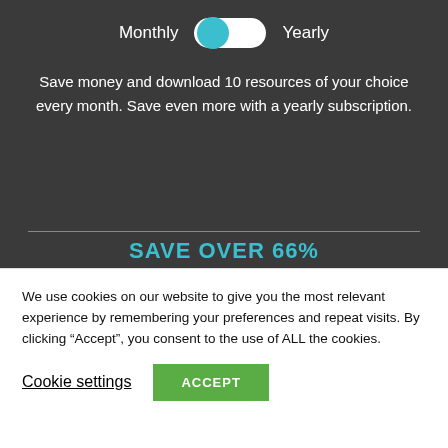[Figure (other): Toggle switch UI element with Monthly and Yearly labels, toggle knob on left (Monthly selected), teal/cyan colored]
Save money and download 10 resources of your choice every month. Save even more with a yearly subscription.
SAVE OVER 66%
We use cookies on our website to give you the most relevant experience by remembering your preferences and repeat visits. By clicking “Accept”, you consent to the use of ALL the cookies.
Cookie settings  ACCEPT